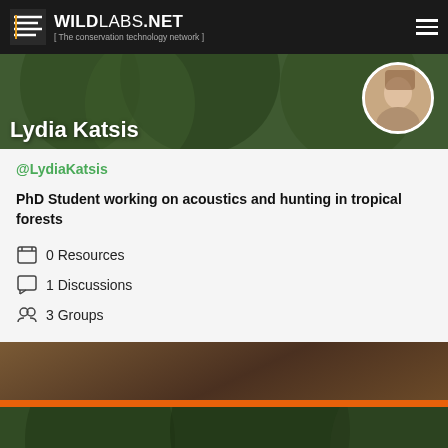WILDLABS.NET [ The conservation technology network ]
Lydia Katsis
@LydiaKatsis
PhD Student working on acoustics and hunting in tropical forests
0 Resources
1 Discussions
3 Groups
[Figure (photo): Second profile photo of a person with glasses and brown hair, partially visible at bottom of page]